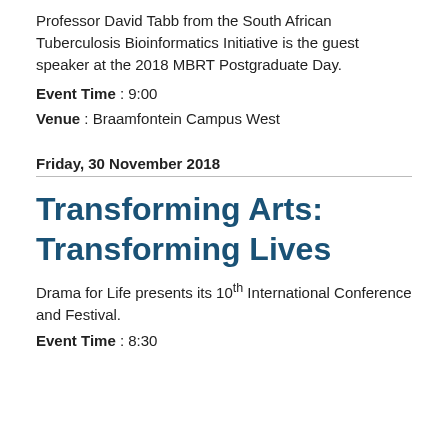Professor David Tabb from the South African Tuberculosis Bioinformatics Initiative is the guest speaker at the 2018 MBRT Postgraduate Day.
Event Time : 9:00
Venue : Braamfontein Campus West
Friday, 30 November 2018
Transforming Arts: Transforming Lives
Drama for Life presents its 10th International Conference and Festival.
Event Time : 8:30